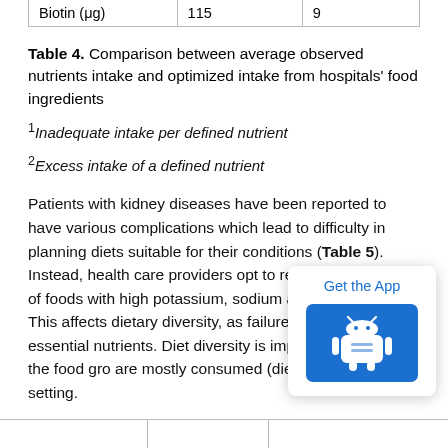| Biotin (μg) | 115 | 9 |
Table 4. Comparison between average observed nutrients intake and optimized intake from hospitals' food ingredients
1Inadequate intake per defined nutrient
2Excess intake of a defined nutrient
Patients with kidney diseases have been reported to have various complications which lead to difficulty in planning diets suitable for their conditions (Table 5). Instead, health care providers opt to restrict the inclusion of foods with high potassium, sodium and phosphorus. This affects dietary diversity, as failure to meet other essential nutrients. Dietary diversity is important to identify the food groups that are mostly consumed (dietary pattern) in a given setting.
[Figure (other): Get the App popup with Android button]